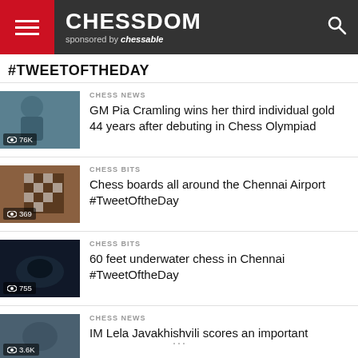CHESSDOM sponsored by chessable
#TWEETOFTHEDAY
[Figure (photo): Thumbnail of GM Pia Cramling with view count 76K]
CHESS NEWS
GM Pia Cramling wins her third individual gold 44 years after debuting in Chess Olympiad
[Figure (photo): Thumbnail of chess boards at Chennai Airport with view count 369]
CHESS BITS
Chess boards all around the Chennai Airport #TweetOftheDay
[Figure (photo): Thumbnail of underwater chess in Chennai with view count 755]
CHESS BITS
60 feet underwater chess in Chennai #TweetOftheDay
[Figure (photo): Thumbnail of IM Lela Javakhishvili with view count 3.6K]
CHESS NEWS
IM Lela Javakhishvili scores an important